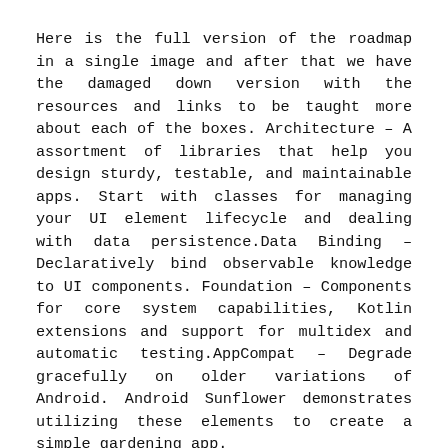Here is the full version of the roadmap in a single image and after that we have the damaged down version with the resources and links to be taught more about each of the boxes. Architecture – A assortment of libraries that help you design sturdy, testable, and maintainable apps. Start with classes for managing your UI element lifecycle and dealing with data persistence.Data Binding – Declaratively bind observable knowledge to UI components. Foundation – Components for core system capabilities, Kotlin extensions and support for multidex and automatic testing.AppCompat – Degrade gracefully on older variations of Android. Android Sunflower demonstrates utilizing these elements to create a simple gardening app.
The Technology Stack That